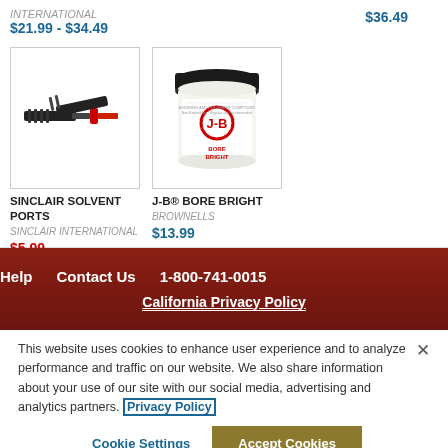INTERNATIONAL
$21.99 - $34.49
$36.49
[Figure (photo): Sinclair Solvent Ports tool — black handled tool with red tip]
SINCLAIR SOLVENT PORTS
SINCLAIR INTERNATIONAL
$5.99
[Figure (photo): J-B Bore Bright jar — white jar with black lid and red/pink label]
J-B® BORE BRIGHT
BROWNELLS
$13.99
Help   Contact Us   1-800-741-0015
California Privacy Policy
This website uses cookies to enhance user experience and to analyze performance and traffic on our website. We also share information about your use of our site with our social media, advertising and analytics partners. Privacy Policy
Cookie Settings   Accept Cookies